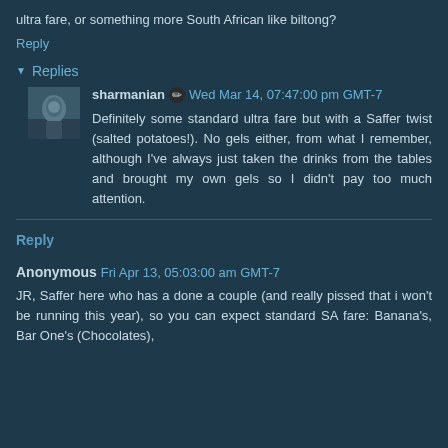ultra fare, or something more South African like biltong?
Reply
Replies
sharmanian ✏ Wed Mar 14, 07:47:00 pm GMT-7
Definitely some standard ultra fare but with a Saffer twist (salted potatoes!). No gels either, from what I remember, although I've always just taken the drinks from the tables and brought my own gels so I didn't pay too much attention.
Reply
Anonymous Fri Apr 13, 05:03:00 am GMT-7
JR, Saffer here who has a done a couple (and really pissed that i won't be running this year), so you can expect standard SA fare: Banana's, Bar One's (Chocolates),